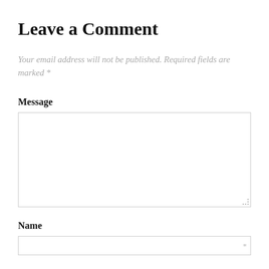Leave a Comment
Your email address will not be published. Required fields are marked *
Message
Name